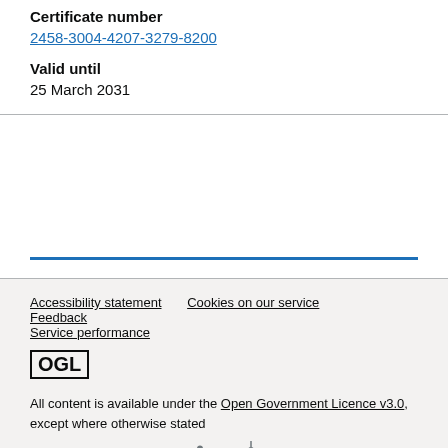Certificate number
2458-3004-4207-3279-8200
Valid until
25 March 2031
Accessibility statement   Cookies on our service   Feedback   Service performance

OGL

All content is available under the Open Government Licence v3.0, except where otherwise stated